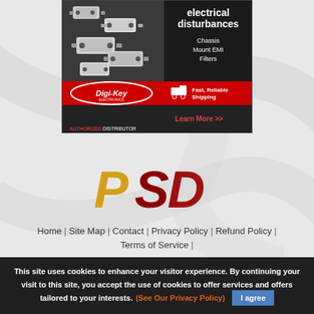[Figure (photo): Digi-Key Electronics advertisement banner showing Chassis Mount EMI Filters products with red 'Fast, Reliable Shipping' bar and 'Learn More >>' link. Shows multiple EMI filter units on dark background. Digi-Key logo with 'AUTHORIZED DISTRIBUTOR' text.]
[Figure (logo): PSID logo in yellow and red stylized letters on light grey background]
Home | Site Map | Contact | Privacy Policy | Refund Policy |
Terms of Service |
This site uses cookies to enhance your visitor experience. By continuing your visit to this site, you accept the use of cookies to offer services and offers tailored to your interests. (See Our Privacy Policy)